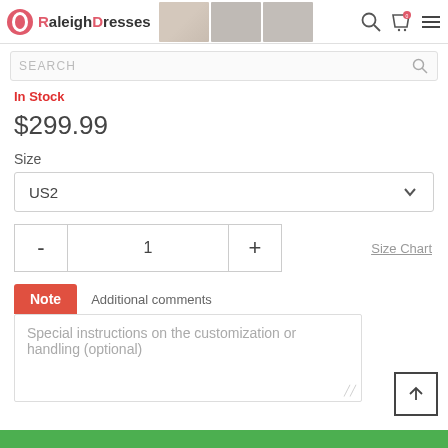RaleighDresses
SEARCH
In Stock
$299.99
Size
US2
- 1 +
Size Chart
Note  Additional comments
Special instructions on the customization or handling (optional)